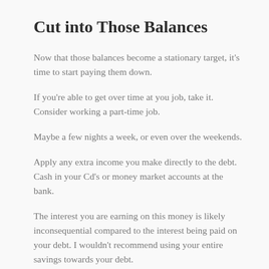Cut into Those Balances
Now that those balances become a stationary target, it's time to start paying them down.
If you're able to get over time at you job, take it. Consider working a part-time job.
Maybe a few nights a week, or even over the weekends.
Apply any extra income you make directly to the debt. Cash in your Cd's or money market accounts at the bank.
The interest you are earning on this money is likely inconsequential compared to the interest being paid on your debt. I wouldn't recommend using your entire savings towards your debt.
It's always good to have some cash sources available in the event of an emergency. But only